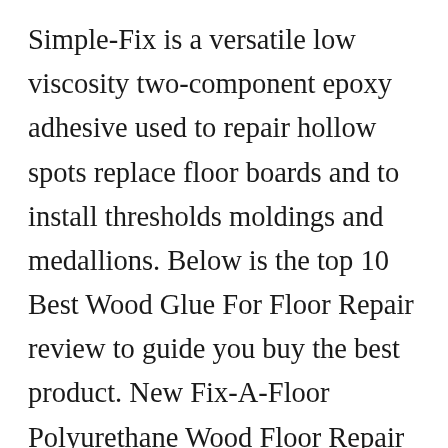Simple-Fix is a versatile low viscosity two-component epoxy adhesive used to repair hollow spots replace floor boards and to install thresholds moldings and medallions. Below is the top 10 Best Wood Glue For Floor Repair review to guide you buy the best product. New Fix-A-Floor Polyurethane Wood Floor Repair Adhesive is an Extra Strength Super Blend Formula. The most widely used kit for engineered floors is the DriTac repair kit. Best Wood Glue For Floor Repair In September 2021. Its unique dual-